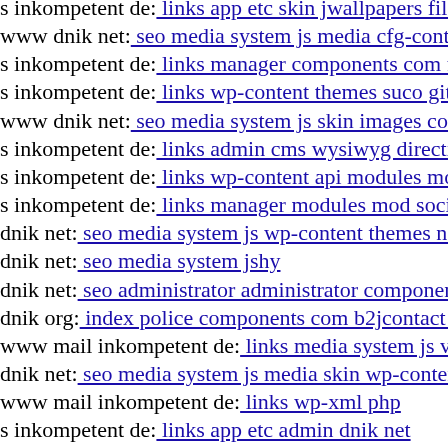s inkompetent de: links app etc skin jwallpapers files plu...
www dnik net: seo media system js media cfg-contactform...
s inkompetent de: links manager components com foxcont...
s inkompetent de: links wp-content themes suco git head
www dnik net: seo media system js skin images com adsm...
s inkompetent de: links admin cms wysiwyg directive skin...
s inkompetent de: links wp-content api modules mod socia...
s inkompetent de: links manager modules mod socialpinbo...
dnik net: seo media system js wp-content themes nova
dnik net: seo media system jshy
dnik net: seo administrator administrator components com...
dnik org: index police components com b2jcontact pagat p...
www mail inkompetent de: links media system js vertigo p...
dnik net: seo media system js media skin wp-content them...
www mail inkompetent de: links wp-xml php
s inkompetent de: links app etc admin dnik net
dnik net: seo wp-content plugins candidate-application-for...
s inkompetent de: links wp-content api downloader compo...
s inkompetent de: links manager plugins editors download...
dnik net: seo media system js media cfg-contactform-8 inc...
s inkompetent de: links wp-content plugins wp-mobile-de...